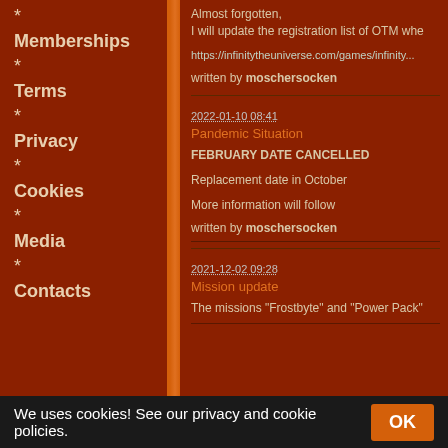Memberships
Terms
Privacy
Cookies
Media
Contacts
Almost forgotten,
I will update the registration list of OTM whe...
https://infinitytheuniverse.com/games/infinity...
written by moschersocken
2022-01-10 08:41
Pandemic Situation
FEBRUARY DATE CANCELLED
Replacement date in October
More information will follow
written by moschersocken
2021-12-02 09:28
Mission update
The missions "Frostbyte" and "Power Pack"...
We uses cookies! See our privacy and cookie policies.